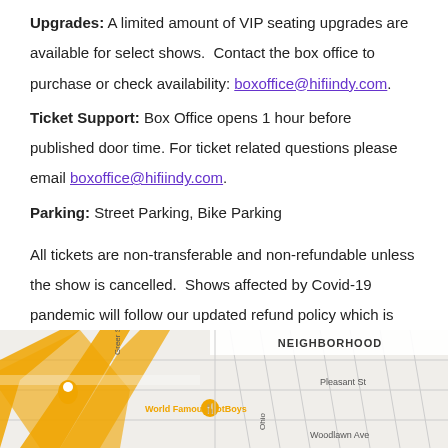Upgrades: A limited amount of VIP seating upgrades are available for select shows. Contact the box office to purchase or check availability: boxoffice@hifiindy.com.
Ticket Support: Box Office opens 1 hour before published door time. For ticket related questions please email boxoffice@hifiindy.com.
Parking: Street Parking, Bike Parking
All tickets are non-transferable and non-refundable unless the show is cancelled. Shows affected by Covid-19 pandemic will follow our updated refund policy which is available on our contact page.
[Figure (map): Street map showing neighborhood area with World Famous HotBoys label, Pleasant St, Woodlawn Ave, Greer St labels and orange roads on grey map background.]